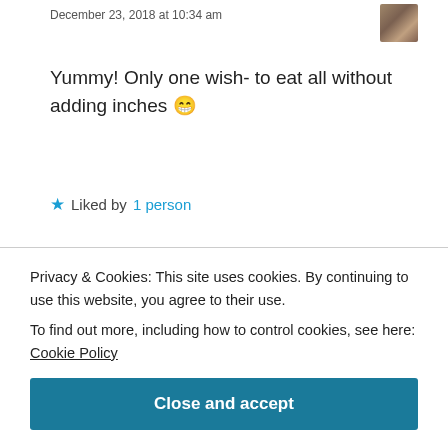December 23, 2018 at 10:34 am
[Figure (photo): User avatar thumbnail top right]
Yummy! Only one wish- to eat all without adding inches 😁
★ Liked by 1 person
Reply
libarah
[Figure (photo): User avatar thumbnail libarah]
Privacy & Cookies: This site uses cookies. By continuing to use this website, you agree to their use.
To find out more, including how to control cookies, see here: Cookie Policy
Close and accept